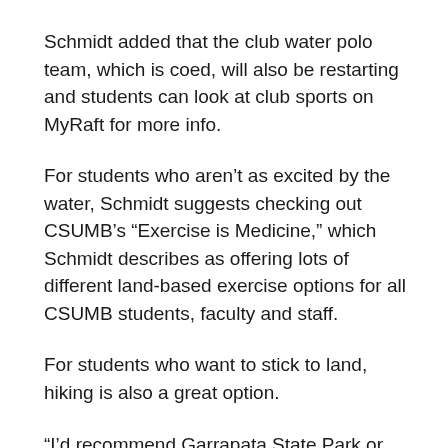Schmidt added that the club water polo team, which is coed, will also be restarting and students can look at club sports on MyRaft for more info.
For students who aren't as excited by the water, Schmidt suggests checking out CSUMB's “Exercise is Medicine,” which Schmidt describes as offering lots of different land-based exercise options for all CSUMB students, faculty and staff.
For students who want to stick to land, hiking is also a great option.
“I’d recommend Garrapata State Park or Point Lobos for great vistas, moderate hikes, and a close proximity to campus,” said Kaci Turpin, coordinator of outdoor recreation at CSUMB.